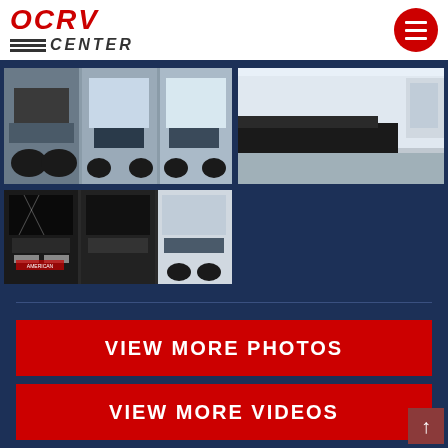[Figure (logo): OCRV Center logo with red italic letters and striped CENTER text]
[Figure (photo): RV/motorhome front undercarriage and grille photos collage, three RV fronts shown]
[Figure (photo): Close-up of RV side damage with black sealant/repair visible]
[Figure (photo): Three motorhome fronts including damaged windshields and grilles, dark colored RVs]
VIEW MORE PHOTOS
VIEW MORE VIDEOS